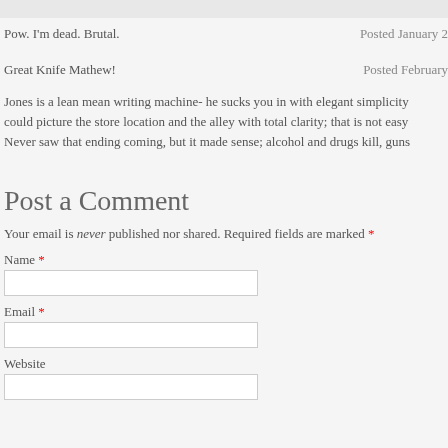Pow. I'm dead. Brutal.
Posted January 2
Great Knife Mathew!
Posted February
Jones is a lean mean writing machine- he sucks you in with elegant simplicity could picture the store location and the alley with total clarity; that is not easy Never saw that ending coming, but it made sense; alcohol and drugs kill, guns
Post a Comment
Your email is never published nor shared. Required fields are marked *
Name *
Email *
Website